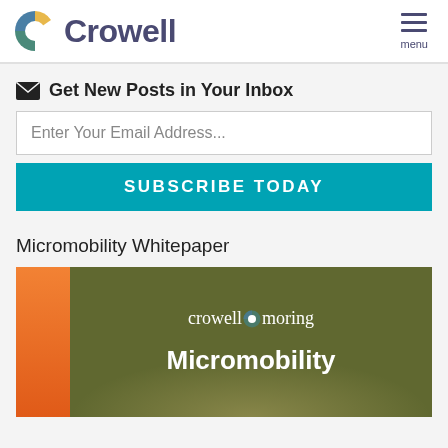Crowell
Get New Posts in Your Inbox
Enter Your Email Address...
SUBSCRIBE TODAY
Micromobility Whitepaper
[Figure (illustration): Crowell Moring Micromobility whitepaper cover image with orange sidebar and dark green/olive background with crowellmoring logo and 'Micromobility' text in white]